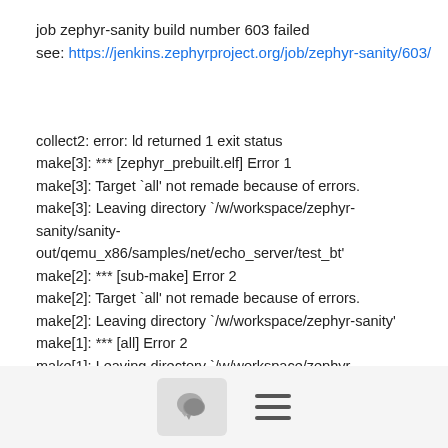job zephyr-sanity build number 603 failed
see: https://jenkins.zephyrproject.org/job/zephyr-sanity/603/
collect2: error: ld returned 1 exit status
make[3]: *** [zephyr_prebuilt.elf] Error 1
make[3]: Target `all' not remade because of errors.
make[3]: Leaving directory `/w/workspace/zephyr-sanity/sanity-out/qemu_x86/samples/net/echo_server/test_bt'
make[2]: *** [sub-make] Error 2
make[2]: Target `all' not remade because of errors.
make[2]: Leaving directory `/w/workspace/zephyr-sanity'
make[1]: *** [all] Error 2
make[1]: Leaving directory `/w/workspace/zephyr-sanity/samples/net/echo_server'
Generating LALR tables
Platform 'arduino_101_mcuboot' not specified in any arch .ini file and will not be tested
--------------------sanity-out/qemu_x86/samples/net/echo_server/test_bt/build.log
[Figure (screenshot): Bottom navigation bar with comment bubble icon button and hamburger menu icon]